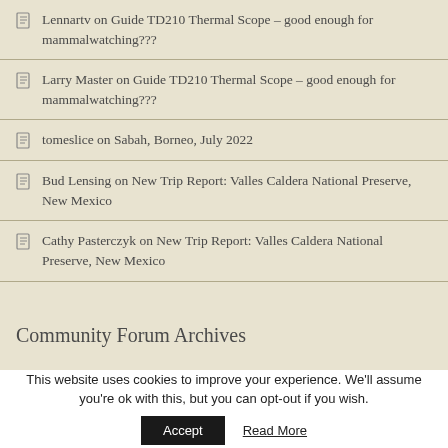Lennartv on Guide TD210 Thermal Scope – good enough for mammalwatching???
Larry Master on Guide TD210 Thermal Scope – good enough for mammalwatching???
tomeslice on Sabah, Borneo, July 2022
Bud Lensing on New Trip Report: Valles Caldera National Preserve, New Mexico
Cathy Pasterczyk on New Trip Report: Valles Caldera National Preserve, New Mexico
Community Forum Archives
This website uses cookies to improve your experience. We'll assume you're ok with this, but you can opt-out if you wish.